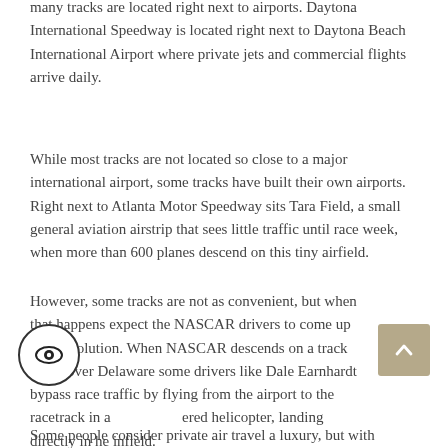many tracks are located right next to airports. Daytona International Speedway is located right next to Daytona Beach International Airport where private jets and commercial flights arrive daily.
While most tracks are not located so close to a major international airport, some tracks have built their own airports. Right next to Atlanta Motor Speedway sits Tara Field, a small general aviation airstrip that sees little traffic until race week, when more than 600 planes descend on this tiny airfield.
However, some tracks are not as convenient, but when that happens expect the NASCAR drivers to come up with a solution. When NASCAR descends on a track like Dover Delaware some drivers like Dale Earnhardt bypass race traffic by flying from the airport to the racetrack in a chartered helicopter, landing directly in he infield.
Some people consider private air travel a luxury, but with